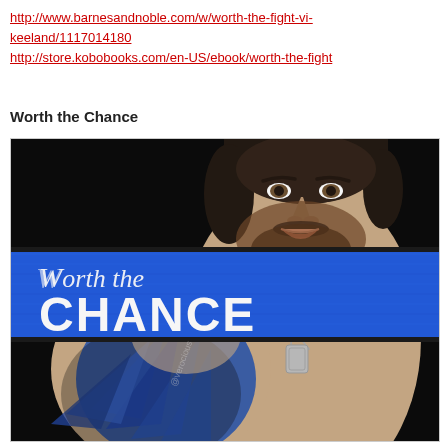http://www.barnesandnoble.com/w/worth-the-fight-vi-keeland/1117014180
http://store.kobobooks.com/en-US/ebook/worth-the-fight
Worth the Chance
[Figure (illustration): Book cover for 'Worth the Chance' showing a shirtless muscular man with dark hair, beard, dog tag necklace, and a blue tattoo sleeve, against a black background. A blue metallic banner across the middle reads 'Worth the Chance' in script and bold white text.]